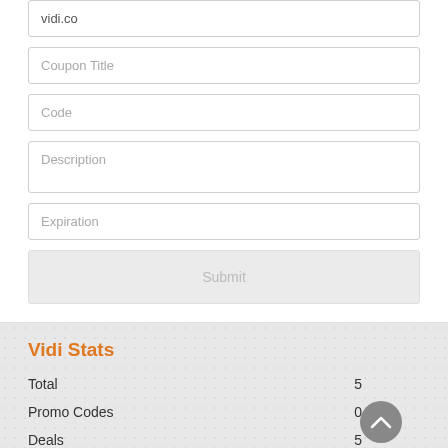vidi.co
Coupon Title
Code
Description
Expiration
Submit
Vidi Stats
Total 5
Promo Codes 0
Deals 5
Max Discount 50%
Last Updated September 2022
Vidi Top Coupon Codes and Offers